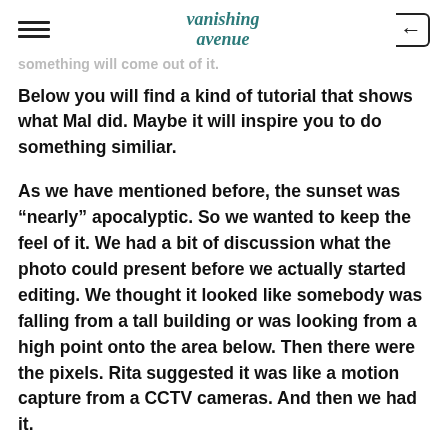vanishing avenue (logo)
something will come out of it.
Below you will find a kind of tutorial that shows what Mal did. Maybe it will inspire you to do something similiar.
As we have mentioned before, the sunset was “nearly” apocalyptic. So we wanted to keep the feel of it. We had a bit of discussion what the photo could present before we actually started editing. We thought it looked like somebody was falling from a tall building or was looking from a high point onto the area below. Then there were the pixels. Rita suggested it was like a motion capture from a CCTV cameras. And then we had it.